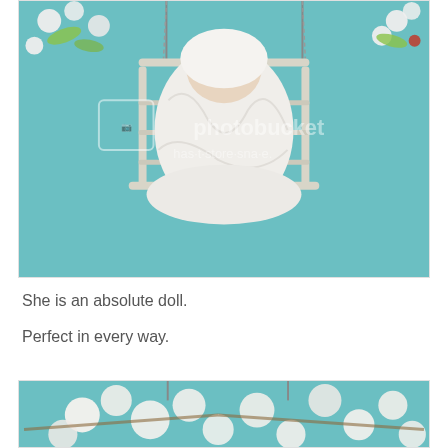[Figure (photo): A newborn baby wrapped in white cloth, sleeping in a white wooden hanging swing/cradle suspended by chains. White blossoms decorate the top corners against a teal/blue background. Photobucket watermark visible.]
She is an absolute doll.
Perfect in every way.
[Figure (photo): Bottom portion of a photo showing white cherry blossoms on branches against a teal background, partially cropped.]